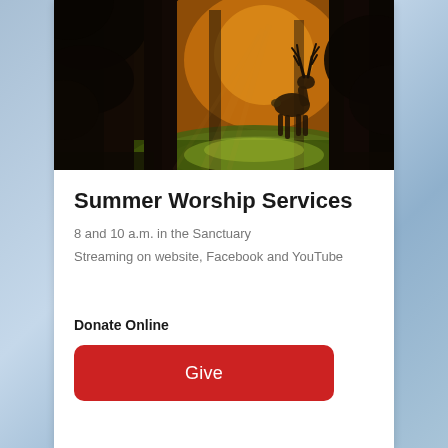[Figure (photo): Forest scene with a deer/stag standing in sunlit path between dark trees, golden-orange light in background]
Summer Worship Services
8 and 10 a.m. in the Sanctuary
Streaming on website, Facebook and YouTube
Donate Online
Give